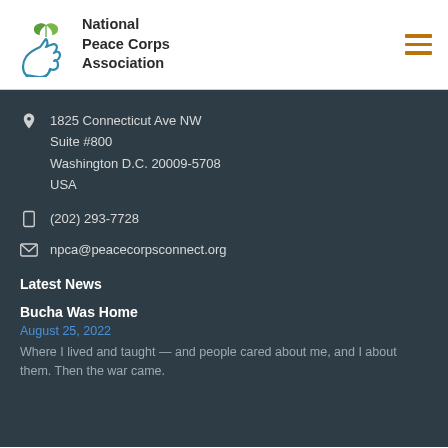[Figure (logo): National Peace Corps Association logo with hand and leaf graphic in teal and green]
1825 Connecticut Ave NW
Suite #800
Washington D.C. 20009-5708
USA
(202) 293-7728
npca@peacecorpsconnect.org
Latest News
Bucha Was Home
August 25, 2022
Where I lived and taught — and people cared about me, and I about them. Then the war came.